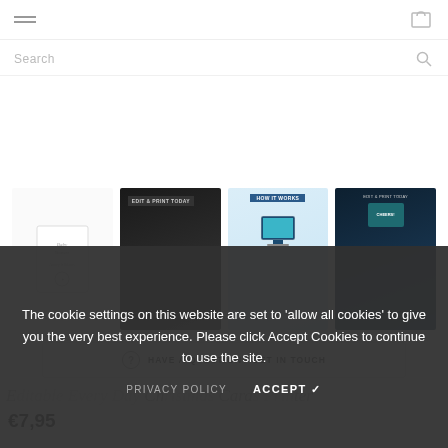[Figure (screenshot): Navigation bar with hamburger menu icon on left and cart icon on right]
[Figure (screenshot): Search bar with 'Search' placeholder text and search icon on right]
[Figure (photo): Four product images in a row: 1) white baby shower invitation with star design, 2) dark styled stationery flat lay with 'Edit and Print Today' text, 3) infographic showing how-to steps with computer monitor graphic, 4) dark styled product display with teal accent]
HAVE A QUESTION? GET IN TOUCH
E...ery...y...C...er
€7,95
The cookie settings on this website are set to 'allow all cookies' to give you the very best experience. Please click Accept Cookies to continue to use the site.
PRIVACY POLICY
ACCEPT ✓